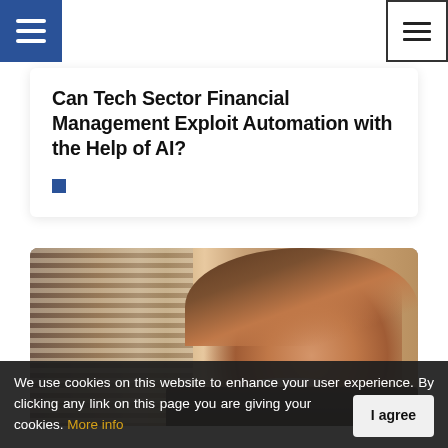Navigation header with hamburger menus
Can Tech Sector Financial Management Exploit Automation with the Help of AI?
[Figure (photo): Professional headshot of a smiling woman with brown hair in an office environment with window blinds in the background]
We use cookies on this website to enhance your user experience. By clicking any link on this page you are giving your consent to set cookies. More info